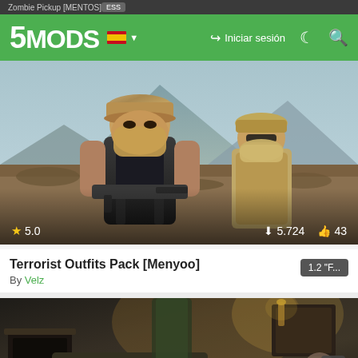Zombie Pickup [MENTOS]
[Figure (screenshot): 5MODS website navigation bar with logo, Spanish flag, Iniciar sesión login link, moon icon, and search icon on green background]
[Figure (screenshot): GTA5 game screenshot showing two characters in desert camouflage terrorist outfits with face coverings and tactical gear, standing in an outdoor environment with mountains in background. Overlay stats show star rating 5.0, downloads 5.724, likes 43]
Terrorist Outfits Pack [Menyoo]
By Velz
1.2 "F...
[Figure (screenshot): GTA5 interior room screenshot showing a living room with fireplace, couch, artwork on wall, and warm lighting. An X button is visible in the bottom right area of the image.]